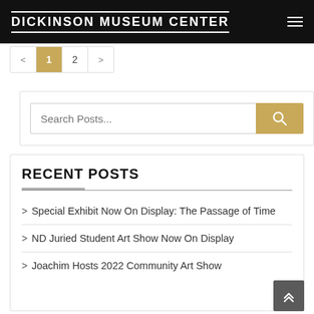DICKINSON MUSEUM CENTER
< 1 2 >
[Figure (screenshot): Search Posts input field with golden search button]
RECENT POSTS
> Special Exhibit Now On Display: The Passage of Time
> ND Juried Student Art Show Now On Display
> Joachim Hosts 2022 Community Art Show